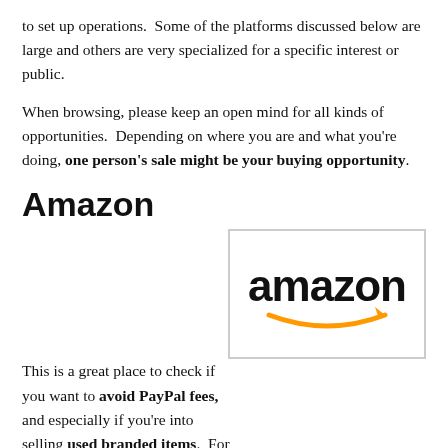to set up operations.  Some of the platforms discussed below are large and others are very specialized for a specific interest or public.
When browsing, please keep an open mind for all kinds of opportunities.  Depending on where you are and what you're doing, one person's sale might be your buying opportunity.
Amazon
This is a great place to check if you want to avoid PayPal fees, and especially if you're into selling used branded items.  For the more advanced people, there is also a way to create your brands but this tends to be costly.
[Figure (logo): Amazon logo: the word 'amazon' in black lowercase letters with an orange arrow smile beneath pointing from 'a' to 'z', inside a rectangular border.]
For me, selling used books on Amazon was a blast compared to